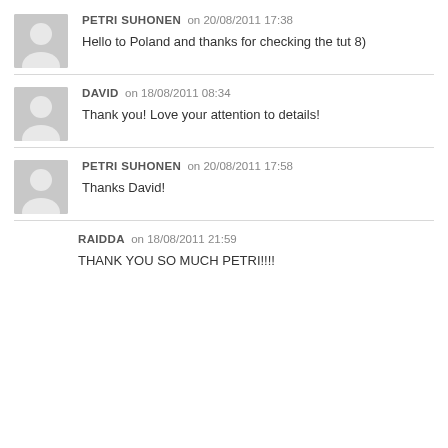PETRI SUHONEN on 20/08/2011 17:38
Hello to Poland and thanks for checking the tut 8)
DAVID on 18/08/2011 08:34
Thank you! Love your attention to details!
PETRI SUHONEN on 20/08/2011 17:58
Thanks David!
RAIDDA on 18/08/2011 21:59
THANK YOU SO MUCH PETRI!!!!